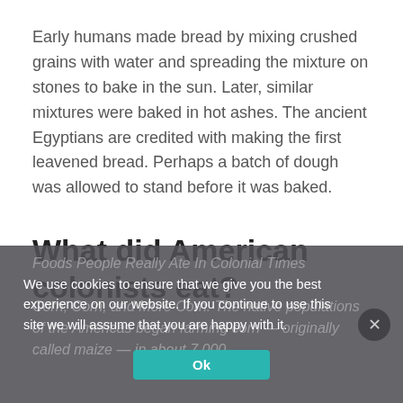Early humans made bread by mixing crushed grains with water and spreading the mixture on stones to bake in the sun. Later, similar mixtures were baked in hot ashes. The ancient Egyptians are credited with making the first leavened bread. Perhaps a batch of dough was allowed to stand before it was baked.
What did American colonists eat?
Foods People Really Ate In Colonial Times
We use cookies to ensure that we give you the best experience on our website. If you continue to use this site we will assume that you are happy with it.
Corn, Corn, and More Corn. The native populations of the Americas began farming corn — originally called maize — in about 7,000